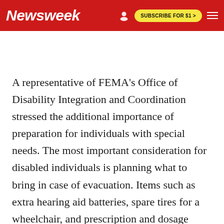Newsweek | SUBSCRIBE FOR $1 >
A representative of FEMA's Office of Disability Integration and Coordination stressed the additional importance of preparation for individuals with special needs. The most important consideration for disabled individuals is planning what to bring in case of evacuation. Items such as extra hearing aid batteries, spare tires for a wheelchair, and prescription and dosage information can prove critical in